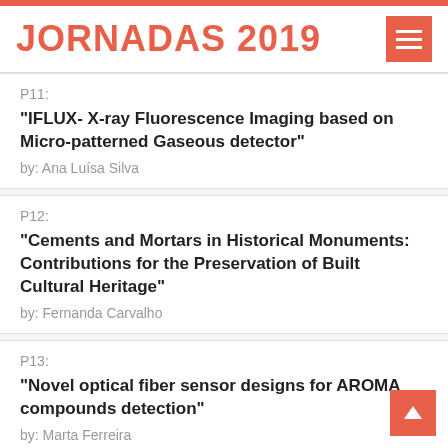JORNADAS 2019
P11:
"IFLUX- X-ray Fluorescence Imaging based on Micro-patterned Gaseous detector"
by: Ana Luísa Silva
P12:
"Cements and Mortars in Historical Monuments: Contributions for the Preservation of Built Cultural Heritage"
by: Fernanda Carvalho
P13:
"Novel optical fiber sensor designs for AROMA compounds detection"
by: Marta Ferreira